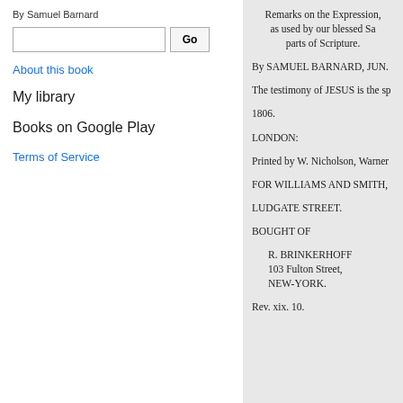By Samuel Barnard
About this book
My library
Books on Google Play
Terms of Service
Remarks on the Expression, as used by our blessed Sa parts of Scripture.
By SAMUEL BARNARD, JUN.
The testimony of JESUS is the sp
1806.
LONDON:
Printed by W. Nicholson, Warner
FOR WILLIAMS AND SMITH,
LUDGATE STREET.
BOUGHT OF
R. BRINKERHOFF
103 Fulton Street,
NEW-YORK.
Rev. xix. 10.